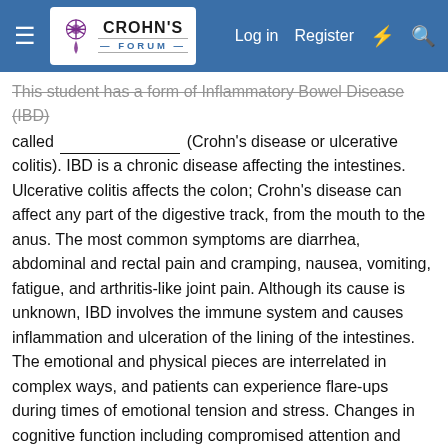Crohn's Forum — Log in | Register
This student has a form of Inflammatory Bowel Disease (IBD) called ________________ (Crohn's disease or ulcerative colitis). IBD is a chronic disease affecting the intestines. Ulcerative colitis affects the colon; Crohn's disease can affect any part of the digestive track, from the mouth to the anus. The most common symptoms are diarrhea, abdominal and rectal pain and cramping, nausea, vomiting, fatigue, and arthritis-like joint pain. Although its cause is unknown, IBD involves the immune system and causes inflammation and ulceration of the lining of the intestines. The emotional and physical pieces are interrelated in complex ways, and patients can experience flare-ups during times of emotional tension and stress. Changes in cognitive function including compromised attention and concentration, reduced capacity to process information, disruptions in memory and reduced ability to multitask are also manifestations of this disease. Changes in physiological functioning of the gastrointestinal tract characteristic of this disease can be exacerbated during period of environmental and/or psychological stress. The stress in/and of itself does not cause the disease.